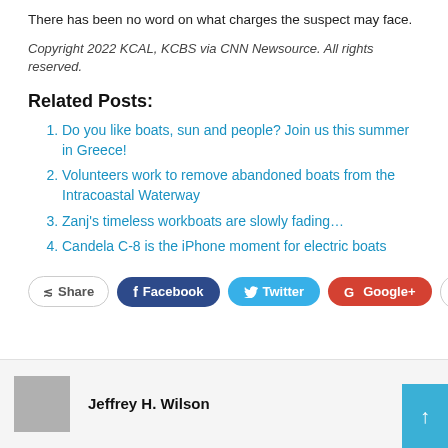There has been no word on what charges the suspect may face.
Copyright 2022 KCAL, KCBS via CNN Newsource. All rights reserved.
Related Posts:
Do you like boats, sun and people? Join us this summer in Greece!
Volunteers work to remove abandoned boats from the Intracoastal Waterway
Zanj's timeless workboats are slowly fading…
Candela C-8 is the iPhone moment for electric boats
[Figure (other): Social share buttons: Share, Facebook, Twitter, Google+, plus button]
Jeffrey H. Wilson